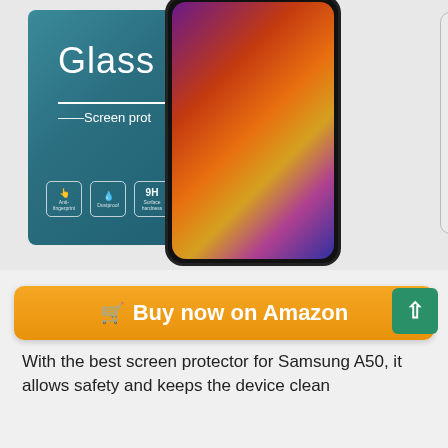[Figure (photo): Product photo of a glass screen protector for Samsung A50, showing teal packaging box with 'Glass — Screen protector' text, a Samsung Galaxy A50 phone with a colorful wallpaper, and three stacked glass screen protector sheets on a light grey background.]
🛒 Buy now on Amazon
With the best screen protector for Samsung A50, it allows safety and keeps the device clean